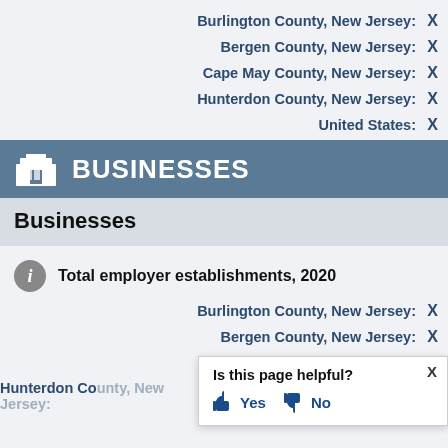Burlington County, New Jersey: X
Bergen County, New Jersey: X
Cape May County, New Jersey: X
Hunterdon County, New Jersey: X
United States: X
BUSINESSES
Businesses
Total employer establishments, 2020
Burlington County, New Jersey: X
Bergen County, New Jersey: X
Cape May County, New Jersey: X
Hunterdon County, New Jersey: X
Is this page helpful? Yes No